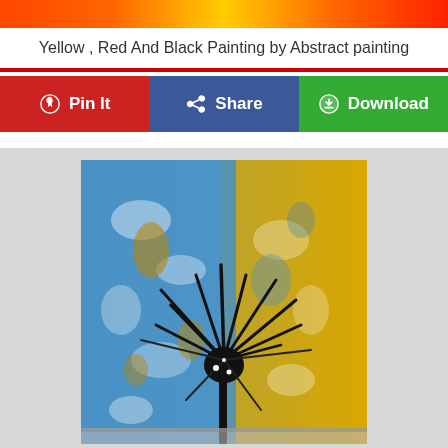[Figure (other): Top colorful gradient banner strip in orange, yellow, and red tones]
Yellow , Red And Black Painting by Abstract painting
[Figure (infographic): Action bar with three buttons: Pin It (red/Pinterest), Share (blue/Facebook), Download (green)]
[Figure (photo): Abstract painting with blue and yellow textured background with black flower/tree silhouette in center]